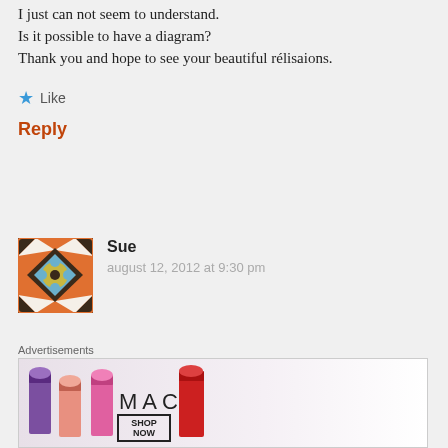I just can not seem to understand. Is it possible to have a diagram? Thank you and hope to see your beautiful rélisaions.
★ Like
Reply
[Figure (illustration): Crochet pattern avatar icon — square with geometric colorful crochet motif in orange, brown, blue, and green]
Sue
august 12, 2012 at 9:30 pm
Just put a diagram up, in a new post:
https://crochetagain.wordpress.com/2012/
Advertisements
[Figure (photo): MAC cosmetics advertisement banner showing colorful lipsticks and MAC logo with SHOP NOW button]